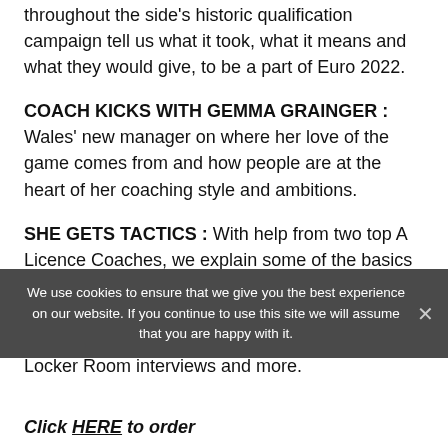throughout the side's historic qualification campaign tell us what it took, what it means and what they would give, to be a part of Euro 2022.
COACH KICKS WITH GEMMA GRAINGER : Wales' new manager on where her love of the game comes from and how people are at the heart of her coaching style and ambitions.
SHE GETS TACTICS : With help from two top A Licence Coaches, we explain some of the basics of formations and take a look at 4-4-2.
PLUS galleries, posters, player columns, news, Locker Room interviews and more.
We use cookies to ensure that we give you the best experience on our website. If you continue to use this site we will assume that you are happy with it.
Click HERE to order